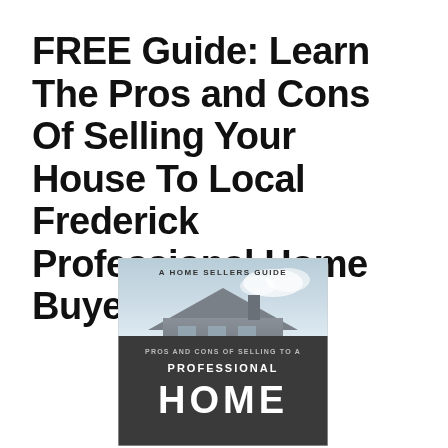FREE Guide: Learn The Pros and Cons Of Selling Your House To Local Frederick Professional Home Buyer
[Figure (illustration): Book cover thumbnail showing 'A Home Sellers Guide' with text 'Pros and Cons of Selling to a Professional Home' over a photo of a house with dark overlay band]